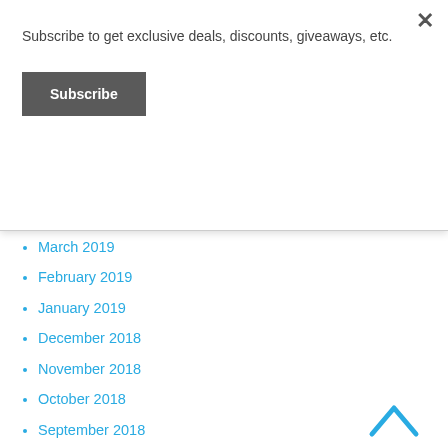Subscribe to get exclusive deals, discounts, giveaways, etc.
Subscribe
✕
March 2019
February 2019
January 2019
December 2018
November 2018
October 2018
September 2018
August 2018
July 2018
April 2018